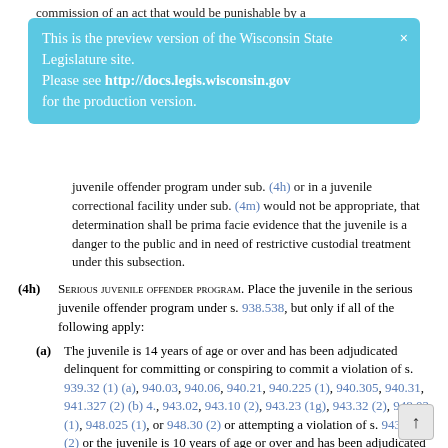commission of an act that would be punishable by a
This is the preview version of the Wisconsin State Legislature site. Please see http://docs.legis.wisconsin.gov for the production version.
juvenile offender program under sub. (4h) or in a juvenile correctional facility under sub. (4m) would not be appropriate, that determination shall be prima facie evidence that the juvenile is a danger to the public and in need of restrictive custodial treatment under this subsection.
(4h) SERIOUS JUVENILE OFFENDER PROGRAM. Place the juvenile in the serious juvenile offender program under s. 938.538, but only if all of the following apply:
(a) The juvenile is 14 years of age or over and has been adjudicated delinquent for committing or conspiring to commit a violation of s. 939.32 (1) (a), 940.03, 940.06, 940.21, 940.225 (1), 940.305, 940.31, 941.327 (2) (b) 4., 943.02, 943.10 (2), 943.23 (1g), 943.32 (2), 948.02 (1), 948.025 (1), or 948.30 (2) or attempting a violation of s. 943.32 (2) or the juvenile is 10 years of age or over and has been adjudicated delinquent for attempting or committing a violation of s. 940.01 or for committing a violation of s. 940.02 or 940.05.
(b) The court finds that the only other disposition that is